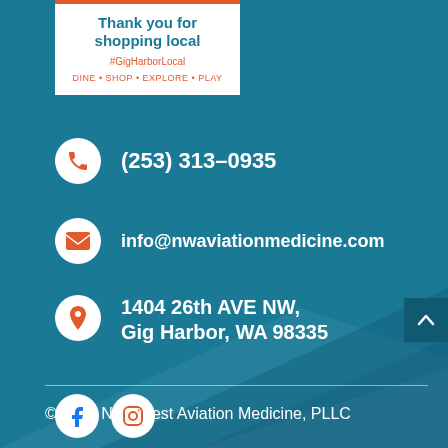[Figure (logo): GigHarborLocal logo box with 'Thank you for shopping local' text, #GigHarborLocal hashtag, and DINE • SHOP • EXPLORE • PLAY tagline]
(253) 313-0935
info@nwaviationmedicine.com
1404 26th AVE NW, Gig Harbor, WA 98335
© 2021 Northwest Aviation Medicine, PLLC